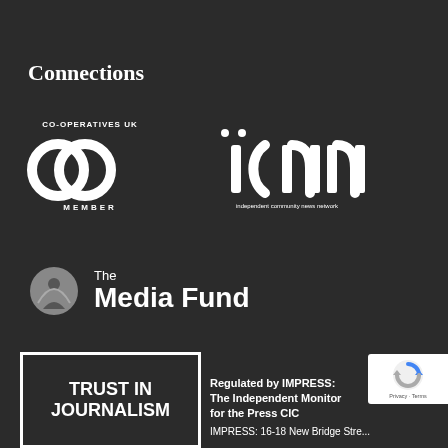Connections
[Figure (logo): Co-operatives UK COOP Member logo in white on dark background]
[Figure (logo): ICNN - independent community news network logo in white on dark background]
[Figure (logo): The Media Fund logo with circular icon and text on dark background]
[Figure (logo): Trust in Journalism badge - white text in white border box on dark background]
Regulated by IMPRESS: The Independent Monitor for the Press CIC
IMPRESS: 16-18 New Bridge Stre...
[Figure (logo): reCAPTCHA badge - Privacy Terms]